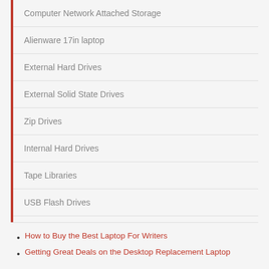Computer Network Attached Storage
Alienware 17in laptop
External Hard Drives
External Solid State Drives
Zip Drives
Internal Hard Drives
Tape Libraries
USB Flash Drives
Fast SSD laptop
How to Buy the Best Laptop For Writers
Getting Great Deals on the Desktop Replacement Laptop